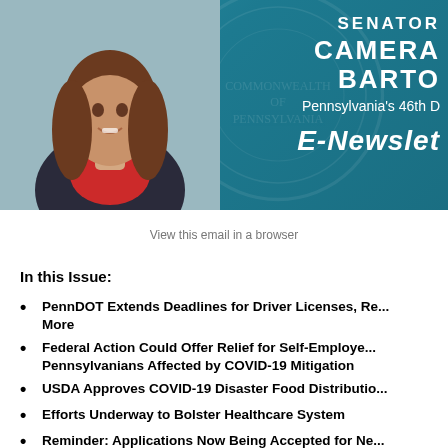[Figure (photo): Banner header with photo of Senator Camera Barton on a teal/blue background with Pennsylvania seal watermark. Text reads: SENATOR CAMERA BARTO Pennsylvania's 46th D... E-Newslet...]
View this email in a browser
In this Issue:
PennDOT Extends Deadlines for Driver Licenses, Re... More
Federal Action Could Offer Relief for Self-Employed Pennsylvanians Affected by COVID-19 Mitigation
USDA Approves COVID-19 Disaster Food Distributio...
Efforts Underway to Bolster Healthcare System
Reminder: Applications Now Being Accepted for Ne...